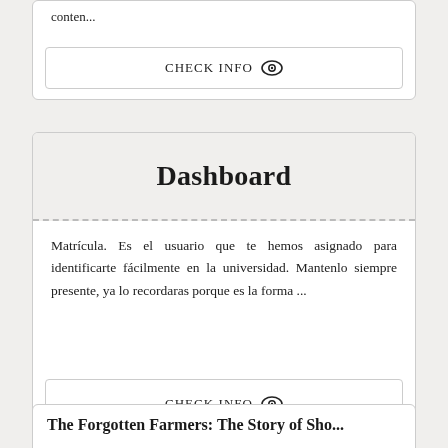conten...
CHECK INFO
Dashboard
Matrícula. Es el usuario que te hemos asignado para identificarte fácilmente en la universidad. Mantenlo siempre presente, ya lo recordaras porque es la forma ...
CHECK INFO
The Forgotten Farmers: The Story of Sho...